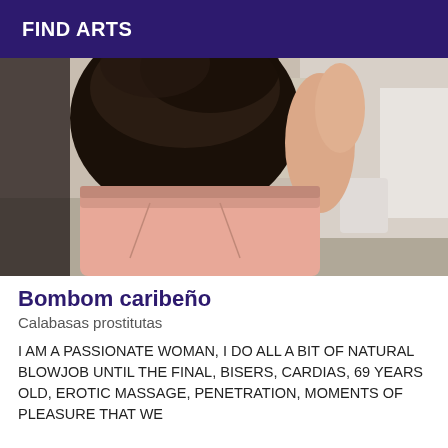FIND ARTS
[Figure (photo): A person photographed from the neck down wearing a black lace top and pink pants, standing in a room with wooden flooring and white furniture visible in the background.]
Bombom caribeño
Calabasas prostitutas
I AM A PASSIONATE WOMAN, I DO ALL A BIT OF NATURAL BLOWJOB UNTIL THE FINAL, BISERS, CARDIAS, 69 YEARS OLD, EROTIC MASSAGE, PENETRATION, MOMENTS OF PLEASURE THAT WE